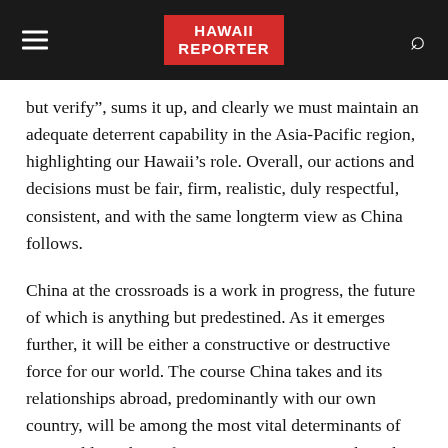HAWAII REPORTER
but verify", sums it up, and clearly we must maintain an adequate deterrent capability in the Asia-Pacific region, highlighting our Hawaii’s role. Overall, our actions and decisions must be fair, firm, realistic, duly respectful, consistent, and with the same longterm view as China follows.
China at the crossroads is a work in progress, the future of which is anything but predestined. As it emerges further, it will be either a constructive or destructive force for our world. The course China takes and its relationships abroad, predominantly with our own country, will be among the most vital determinants of our world condition for generations to come. Thus, the relationships we develop and decisions we make with respect to China must be among our highest national priorities.